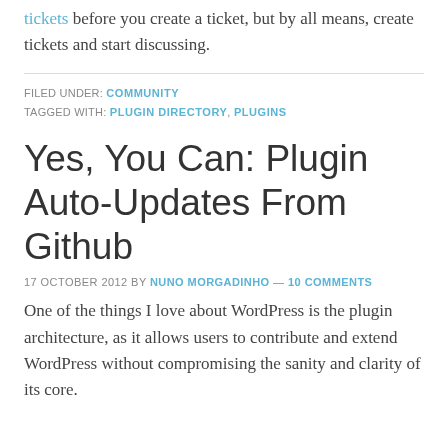tickets before you create a ticket, but by all means, create tickets and start discussing.
FILED UNDER: COMMUNITY
TAGGED WITH: PLUGIN DIRECTORY, PLUGINS
Yes, You Can: Plugin Auto-Updates From Github
17 OCTOBER 2012 BY NUNO MORGADINHO — 10 COMMENTS
One of the things I love about WordPress is the plugin architecture, as it allows users to contribute and extend WordPress without compromising the sanity and clarity of its core.